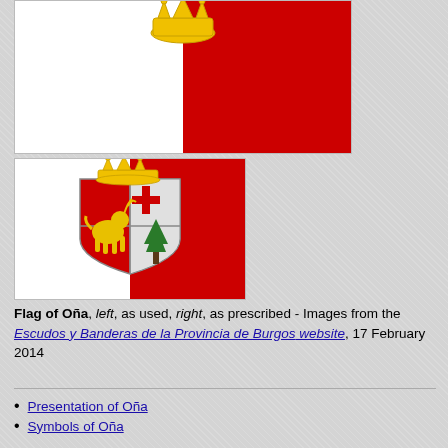[Figure (illustration): Two flag images of Oña: top partial image showing white and red horizontal/vertical sections with a coat of arms; bottom full flag showing white left half and red right half with a coat of arms featuring a gold crown, red cross, green tree, and golden deer on a red/silver shield.]
Flag of Oña, left, as used, right, as prescribed - Images from the Escudos y Banderas de la Provincia de Burgos website, 17 February 2014
Presentation of Oña
Symbols of Oña